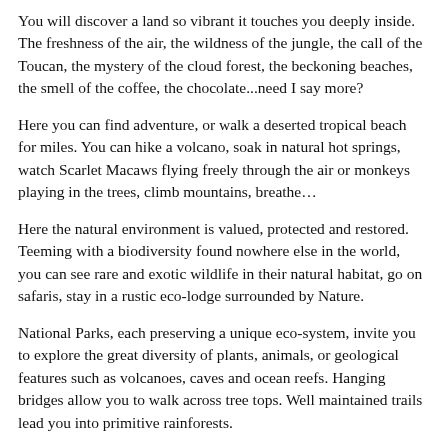You will discover a land so vibrant it touches you deeply inside. The freshness of the air, the wildness of the jungle, the call of the Toucan, the mystery of the cloud forest, the beckoning beaches, the smell of the coffee, the chocolate...need I say more?
Here you can find adventure, or walk a deserted tropical beach for miles. You can hike a volcano, soak in natural hot springs, watch Scarlet Macaws flying freely through the air or monkeys playing in the trees, climb mountains, breathe…
Here the natural environment is valued, protected and restored. Teeming with a biodiversity found nowhere else in the world, you can see rare and exotic wildlife in their natural habitat, go on safaris, stay in a rustic eco-lodge surrounded by Nature.
National Parks, each preserving a unique eco-system, invite you to explore the great diversity of plants, animals, or geological features such as volcanoes, caves and ocean reefs. Hanging bridges allow you to walk across tree tops. Well maintained trails lead you into primitive rainforests.
Because of Costa Rica's amazing beauty, people come here to experience something different, creating a niche for adventure tourism: shooting the rapids, canopy zip lining, waterfall rappelling, surfing the waves, sea kayaking and horseback riding. The